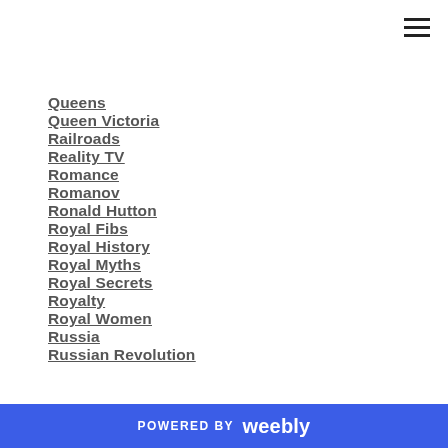Queens
Queen Victoria
Railroads
Reality TV
Romance
Romanov
Ronald Hutton
Royal Fibs
Royal History
Royal Myths
Royal Secrets
Royalty
Royal Women
Russia
Russian Revolution
POWERED BY weebly